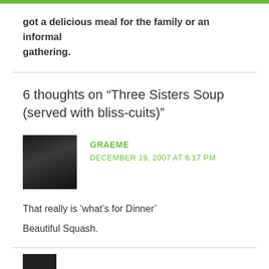got a delicious meal for the family or an informal gathering.
6 thoughts on “Three Sisters Soup (served with bliss-cuits)”
GRAEME
DECEMBER 19, 2007 AT 6:17 PM
That really is ‘what’s for Dinner’
Beautiful Squash.